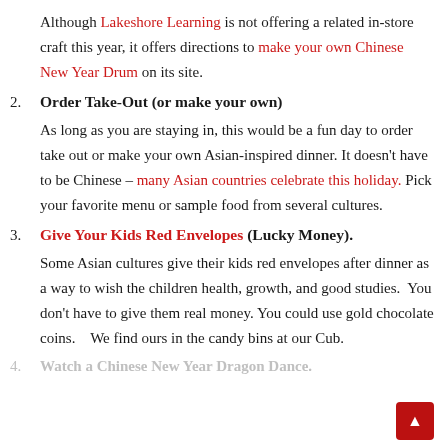Although Lakeshore Learning is not offering a related in-store craft this year, it offers directions to make your own Chinese New Year Drum on its site.
2. Order Take-Out (or make your own)
As long as you are staying in, this would be a fun day to order take out or make your own Asian-inspired dinner. It doesn't have to be Chinese – many Asian countries celebrate this holiday. Pick your favorite menu or sample food from several cultures.
3. Give Your Kids Red Envelopes (Lucky Money).
Some Asian cultures give their kids red envelopes after dinner as a way to wish the children health, growth, and good studies. You don't have to give them real money. You could use gold chocolate coins.   We find ours in the candy bins at our Cub.
4. Watch a Chinese New Year Dragon Dance.